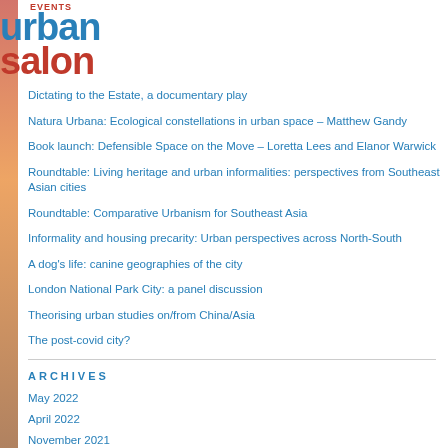EVENTS urban salon
Dictating to the Estate, a documentary play
Natura Urbana: Ecological constellations in urban space – Matthew Gandy
Book launch: Defensible Space on the Move – Loretta Lees and Elanor Warwick
Roundtable: Living heritage and urban informalities: perspectives from Southeast Asian cities
Roundtable: Comparative Urbanism for Southeast Asia
Informality and housing precarity: Urban perspectives across North-South
A dog's life: canine geographies of the city
London National Park City: a panel discussion
Theorising urban studies on/from China/Asia
The post-covid city?
ARCHIVES
May 2022
April 2022
November 2021
October 2021